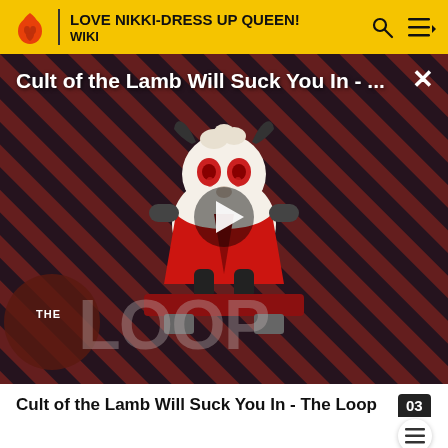LOVE NIKKI-DRESS UP QUEEN! WIKI
[Figure (screenshot): Video thumbnail showing a cartoon lamb character on a red-striped dark background with diagonal stripes. Text overlay reads 'Cult of the Lamb Will Suck You In - ...' with a play button in the center and 'THE LOOP' logo in the lower left.]
Cult of the Lamb Will Suck You In - The Loop
Academy. Last time when walking by the welfare house, we saw a cat lying in the bushes in front of the gate.
Scho...